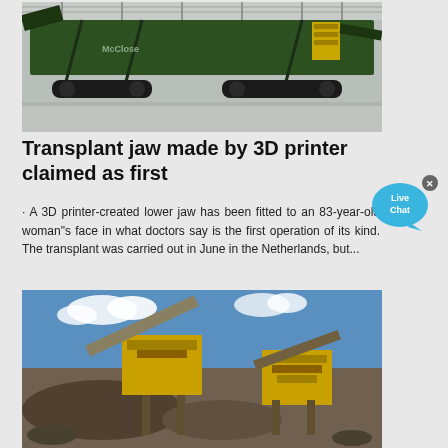[Figure (photo): Large green industrial crushing/screening machine parked inside a warehouse or hangar facility with a reflective floor and metal roof structure.]
Transplant jaw made by 3D printer claimed as first
· A 3D printer-created lower jaw has been fitted to an 83-year-old woman"s face in what doctors say is the first operation of its kind. The transplant was carried out in June in the Netherlands, but...
[Figure (photo): Yellow and grey industrial mining/crushing equipment operating outdoors against a blue sky with white clouds.]